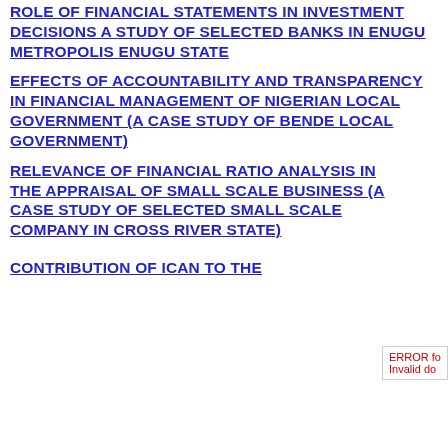ROLE OF FINANCIAL STATEMENTS IN INVESTMENT DECISIONS A STUDY OF SELECTED BANKS IN ENUGU METROPOLIS ENUGU STATE
EFFECTS OF ACCOUNTABILITY AND TRANSPARENCY IN FINANCIAL MANAGEMENT OF NIGERIAN LOCAL GOVERNMENT (A CASE STUDY OF BENDE LOCAL GOVERNMENT)
RELEVANCE OF FINANCIAL RATIO ANALYSIS IN THE APPRAISAL OF SMALL SCALE BUSINESS (A CASE STUDY OF SELECTED SMALL SCALE COMPANY IN CROSS RIVER STATE)
CONTRIBUTION OF ICAN TO THE